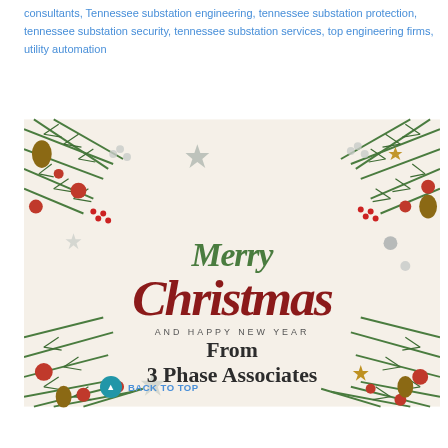consultants, Tennessee substation engineering, tennessee substation protection, tennessee substation security, tennessee substation services, top engineering firms, utility automation
[Figure (illustration): Christmas greeting card with festive decorations (pine branches, red ornaments, pine cones, stars, berries) on a cream background. Text reads: 'Merry Christmas AND HAPPY NEW YEAR From 3 Phase Associates'. A 'Back to Top' button with teal circle arrow icon is overlaid at the bottom left.]